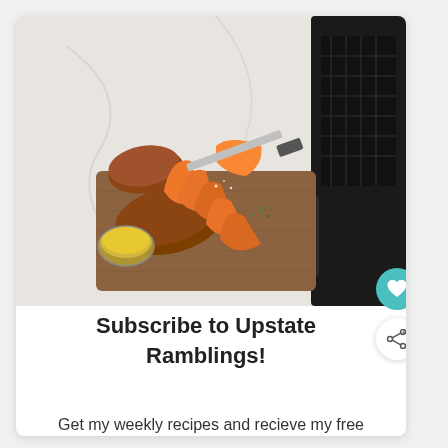[Figure (photo): Sweet potatoes on a wooden cutting board — whole and sliced into wedges — with a small glass bowl of olive oil, a knife, and an open air fryer basket on a white marble surface.]
Subscribe to Upstate Ramblings!
Get my weekly recipes and recieve my free